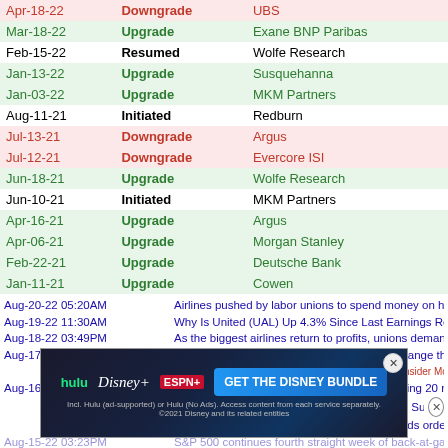| Date | Action | Firm |
| --- | --- | --- |
| Apr-18-22 | Downgrade | UBS |
| Mar-18-22 | Upgrade | Exane BNP Paribas |
| Feb-15-22 | Resumed | Wolfe Research |
| Jan-13-22 | Upgrade | Susquehanna |
| Jan-03-22 | Upgrade | MKM Partners |
| Aug-11-21 | Initiated | Redburn |
| Jul-13-21 | Downgrade | Argus |
| Jul-12-21 | Downgrade | Evercore ISI |
| Jun-18-21 | Upgrade | Wolfe Research |
| Jun-10-21 | Initiated | MKM Partners |
| Apr-16-21 | Upgrade | Argus |
| Apr-06-21 | Upgrade | Morgan Stanley |
| Feb-22-21 | Upgrade | Deutsche Bank |
| Jan-11-21 | Upgrade | Cowen |
Aug-20-22 05:20AM  Airlines pushed by labor unions to spend money on hiring rat
Aug-19-22 11:30AM  Why Is United (UAL) Up 4.3% Since Last Earnings Report? z
Aug-18-22 03:49PM  As the biggest airlines return to profits, unions demand endin
Aug-17-22 03:33PM  Airline seats too small? The FAA may soon change that  Yahoo
09:06AM  10 Best Airline Stocks To Buy Now  Insider Monkey
Aug-16-22 03:00PM  Speed for need: Why American Airlines is buying 20 new sup
10:15AM  American Airlines agrees to buy Boom Supersonic jets
10:08AM  Colorado-based Boom Supersonic lands order from a major
Aug-15-22 03:23PM  S&P 500 continues fourth straight week of back-at-gains...
[Figure (screenshot): Disney Bundle advertisement banner with Hulu, Disney+, ESPN+ logos and GET THE DISNEY BUNDLE call to action]